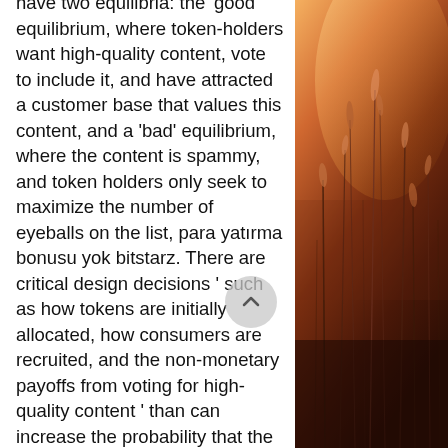have two equilibria: the 'good' equilibrium, where token-holders want high-quality content, vote to include it, and have attracted a customer base that values this content, and a 'bad' equilibrium, where the content is spammy, and token holders only seek to maximize the number of eyeballs on the list, para yatırma bonusu yok bitstarz. There are critical design decisions ' such as how tokens are initially allocated, how consumers are recruited, and the non-monetary payoffs from voting for high-quality content ' than can increase the probability that the good equilibrium occurs rather than the bad one. There are many more complicated types of games, and corresponding variations on Nash equilibrium. For an encyclopedic presentation of game theory, see Drew Fudenberg and Jean Tirole's Game Theory (MIT Press, 1991). Cryptoeconomics and game theory in cryptocurrency world.
[Figure (photo): Warm-toned nature photograph showing tall grass or wheat stalks with bokeh effect, orange and brown color palette with sunlight effect.]